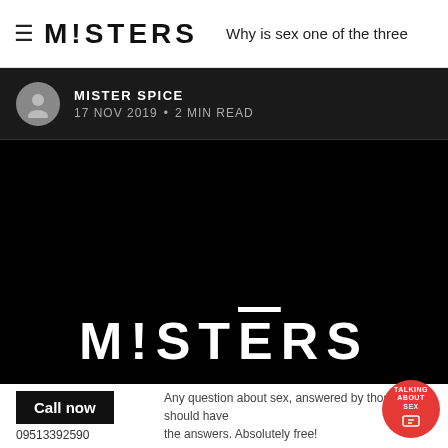≡ MISTERS  Why is sex one of the three
MISTER SPICE
17 NOV 2019 • 2 MIN READ
[Figure (logo): MISTERS logo in white on black background with tagline 'We are a men's confidence company.']
Call now
09513392590
Any question about sex, answered by those who should have the answers. Absolutely free!